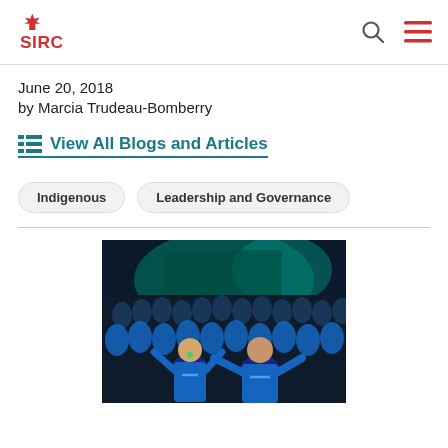SIRC
June 20, 2018
by Marcia Trudeau-Bomberry
View All Blogs and Articles
Indigenous
Leadership and Governance
[Figure (photo): Crowd of people in blue uniforms at an outdoor event at night, with two people in the foreground raising their arms.]